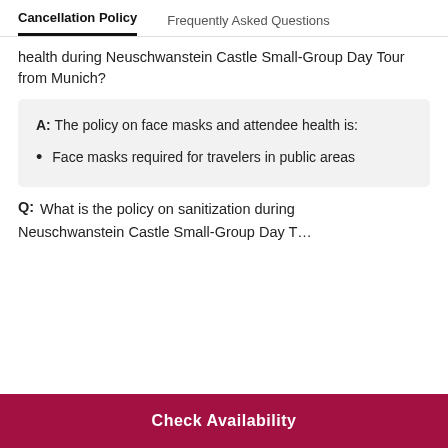Cancellation Policy | Frequently Asked Questions
health during Neuschwanstein Castle Small-Group Day Tour from Munich?
A: The policy on face masks and attendee health is:
Face masks required for travelers in public areas
Q: What is the policy on sanitization during Neuschwanstein Castle Small-Group Day T…
Check Availability